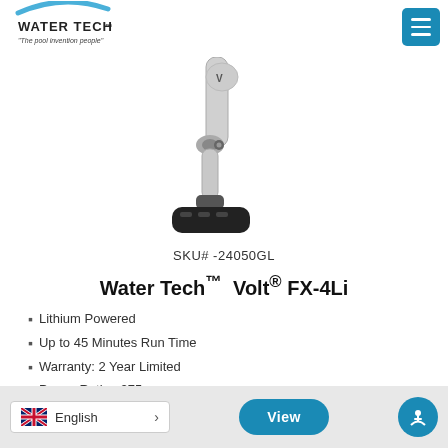[Figure (logo): Water Tech logo with arc swoosh and tagline 'The pool invention people']
[Figure (photo): Partial photo of Water Tech Volt FX-4Li pool cleaner unit, showing the device arm and brush head attachment on white background]
SKU# -24050GL
Water Tech™ Volt® FX-4Li
Lithium Powered
Up to 45 Minutes Run Time
Warranty: 2 Year Limited
Power Rating 275
English
View